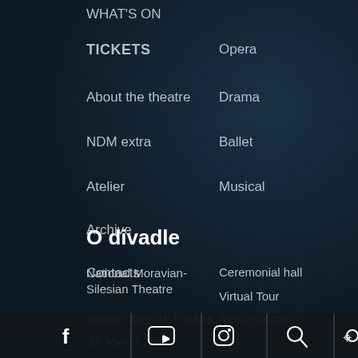WHAT'S ON
TICKETS
About the theatre
NDM extra
Atelier
Archive
Contacts
Opera
Drama
Ballet
Musical
O divadle
National Moravian-Silesian Theatre
Antonín Dvořák Theatre
Jiří Myron… Theatre "1…
Ceremonial hall
Virtual Tour
Reconstruction
[Figure (screenshot): Bottom navigation bar with social media icons: Facebook, YouTube, Instagram, Search, and another icon]